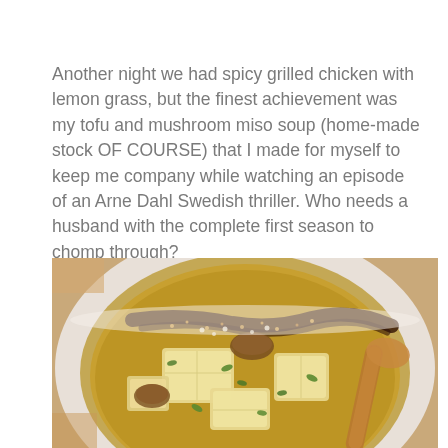Another night we had spicy grilled chicken with lemon grass, but the finest achievement was my tofu and mushroom miso soup (home-made stock OF COURSE) that I made for myself to keep me company while watching an episode of an Arne Dahl Swedish thriller. Who needs a husband with the complete first season to chomp through?
[Figure (photo): A close-up photo of a white bowl containing tofu and mushroom miso soup, with chunks of tofu, mushrooms, green herbs, and a dark miso drizzle. A wooden spoon is visible at the right side of the bowl.]